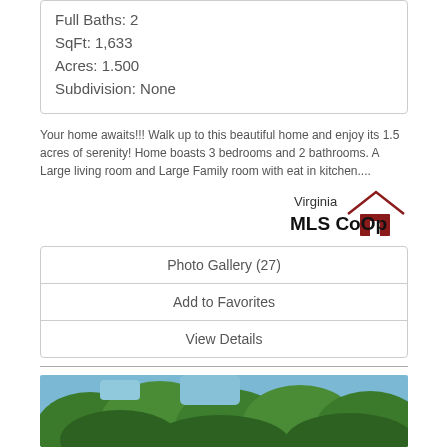Full Baths: 2
SqFt: 1,633
Acres: 1.500
Subdivision: None
Your home awaits!!! Walk up to this beautiful home and enjoy its 1.5 acres of serenity! Home boasts 3 bedrooms and 2 bathrooms. A Large living room and Large Family room with eat in kitchen....
[Figure (logo): Virginia MLS CoOp logo with red house icon]
| Photo Gallery (27) |
| Add to Favorites |
| View Details |
[Figure (photo): Exterior photo of property with green trees and blue sky]